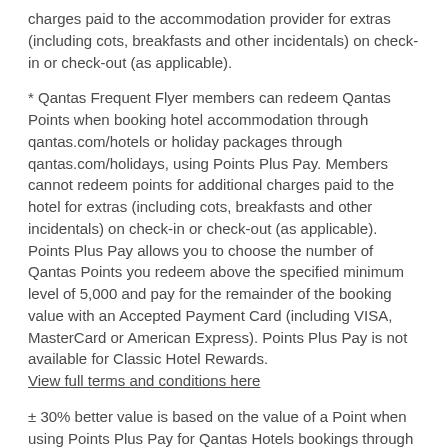charges paid to the accommodation provider for extras (including cots, breakfasts and other incidentals) on check-in or check-out (as applicable).
* Qantas Frequent Flyer members can redeem Qantas Points when booking hotel accommodation through qantas.com/hotels or holiday packages through qantas.com/holidays, using Points Plus Pay. Members cannot redeem points for additional charges paid to the hotel for extras (including cots, breakfasts and other incidentals) on check-in or check-out (as applicable). Points Plus Pay allows you to choose the number of Qantas Points you redeem above the specified minimum level of 5,000 and pay for the remainder of the booking value with an Accepted Payment Card (including VISA, MasterCard or American Express). Points Plus Pay is not available for Classic Hotel Rewards. View full terms and conditions here
± 30% better value is based on the value of a Point when using Points Plus Pay for Qantas Hotels bookings through qantas.com/hotels as compared to the value of a Point using Points Plus Pay for Qantas Hotel bookings made prior to February 2022. 30% better value only applies to the points component of the booking and excludes Classic Hotel Rewards.